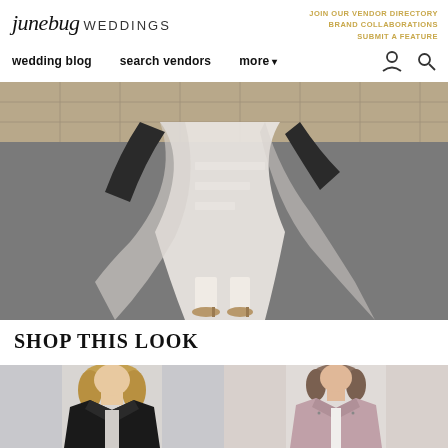junebug WEDDINGS | JOIN OUR VENDOR DIRECTORY | BRAND COLLABORATIONS | SUBMIT A FEATURE
wedding blog   search vendors   more ▾
[Figure (photo): A bride in a flowing white wedding dress and black leather jacket walking on a street, dress billowing in the wind, wearing heeled sandals]
SHOP THIS LOOK
[Figure (photo): Woman wearing a black leather moto jacket]
[Figure (photo): Woman wearing a dusty pink/mauve leather moto jacket]